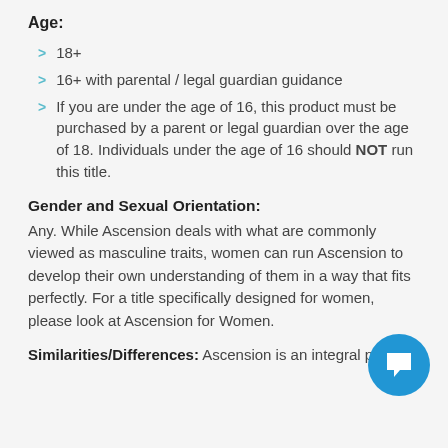Age:
18+
16+ with parental / legal guardian guidance
If you are under the age of 16, this product must be purchased by a parent or legal guardian over the age of 18. Individuals under the age of 16 should NOT run this title.
Gender and Sexual Orientation:
Any. While Ascension deals with what are commonly viewed as masculine traits, women can run Ascension to develop their own understanding of them in a way that fits perfectly. For a title specifically designed for women, please look at Ascension for Women.
Similarities/Differences: Ascension is an integral part of